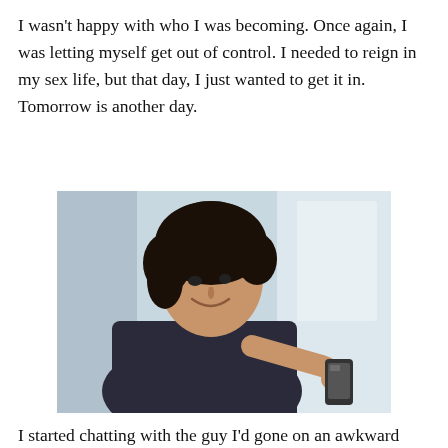I wasn't happy with who I was becoming. Once again, I was letting myself get out of control. I needed to reign in my sex life, but that day, I just wanted to get it in. Tomorrow is another day.
[Figure (photo): A young man with curly dark hair, smiling and looking down at a mobile phone he holds in his hand. He is wearing a dark shirt. The background is light and slightly blurred.]
I started chatting with the guy I'd gone on an awkward date with. We'd already talked about trying to figure something out about getting together again. I could tell he was more interested in sex than a relationship, but there